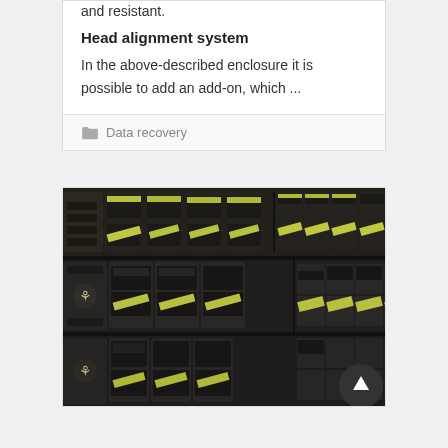and resistant.
Head alignment system
In the above-described enclosure it is possible to add an add-on, which ...
Data recovery
[Figure (photo): Photo of stacked Huawei server rack units with multiple hard drives featuring yellow stripe labels, arranged in rows, showing a dense storage system.]